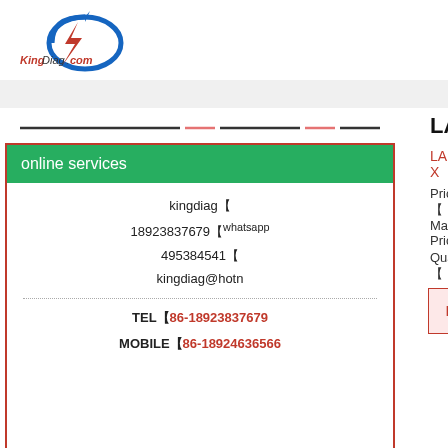[Figure (logo): KingDiag.com logo with blue circular arrow and red lightning bolt]
online services
kingdiag【
18923837679【whatsapp
495384541【
kingdiag@hotn
TEL　86-18923837679
MOBILE　86-18924636566
LAUNCH
LAUNCH X
Price【
Market Price
Quantity【
Buy